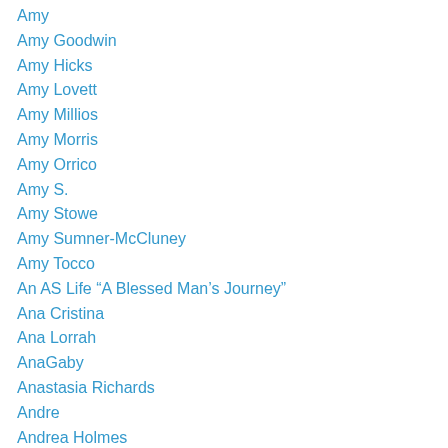Amy
Amy Goodwin
Amy Hicks
Amy Lovett
Amy Millios
Amy Morris
Amy Orrico
Amy S.
Amy Stowe
Amy Sumner-McCluney
Amy Tocco
An AS Life “A Blessed Man’s Journey”
Ana Cristina
Ana Lorrah
AnaGaby
Anastasia Richards
Andre
Andrea Holmes
Andrea Shelley
Andres Moreno